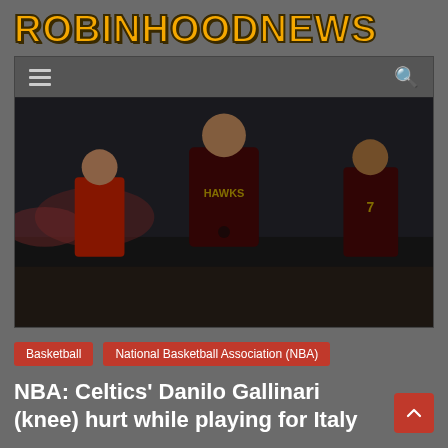[Figure (logo): Robinhood News logo in gold/yellow bold font on dark gray background]
[Figure (photo): Basketball players in Hawks uniforms on a basketball court, dark/dimmed photo]
Basketball
National Basketball Association (NBA)
NBA: Celtics' Danilo Gallinari (knee) hurt while playing for Italy